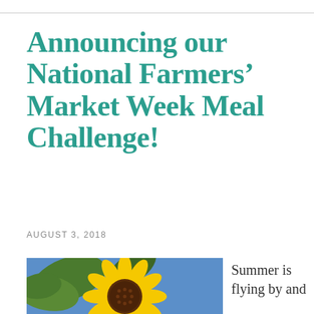Announcing our National Farmers' Market Week Meal Challenge!
AUGUST 3, 2018
[Figure (photo): Close-up photograph of a sunflower with bright yellow petals and a dark brown center, with green leaves visible in the background.]
Summer is flying by and